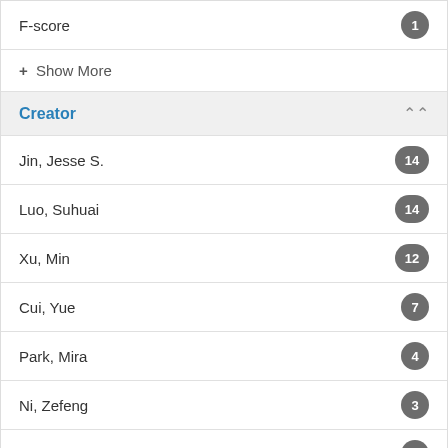F-score 1
+ Show More
Creator
Jin, Jesse S. 14
Luo, Suhuai 14
Xu, Min 12
Cui, Yue 7
Park, Mira 4
Ni, Zefeng 3
Wong, W. S. Felix 3
Santos, Leonardo D. 2